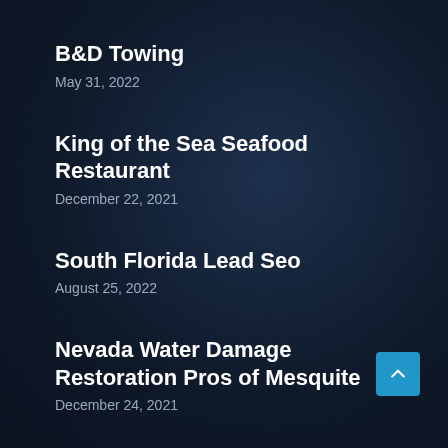B&D Towing
May 31, 2022
King of the Sea Seafood Restaurant
December 22, 2021
South Florida Lead Seo
August 25, 2022
Nevada Water Damage Restoration Pros of Mesquite
December 24, 2021
Rank Me Tulsa
April 8, 2022